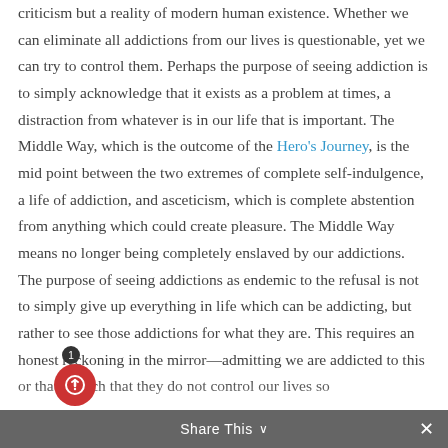criticism but a reality of modern human existence. Whether we can eliminate all addictions from our lives is questionable, yet we can try to control them. Perhaps the purpose of seeing addiction is to simply acknowledge that it exists as a problem at times, a distraction from whatever is in our life that is important. The Middle Way, which is the outcome of the Hero's Journey, is the mid point between the two extremes of complete self-indulgence, a life of addiction, and asceticism, which is complete abstention from anything which could create pleasure. The Middle Way means no longer being completely enslaved by our addictions.
The purpose of seeing addictions as endemic to the refusal is not to simply give up everything in life which can be addicting, but rather to see those addictions for what they are. This requires an honest reckoning in the mirror—admitting we are addicted to this or that —such that they do not control our lives so
Share This